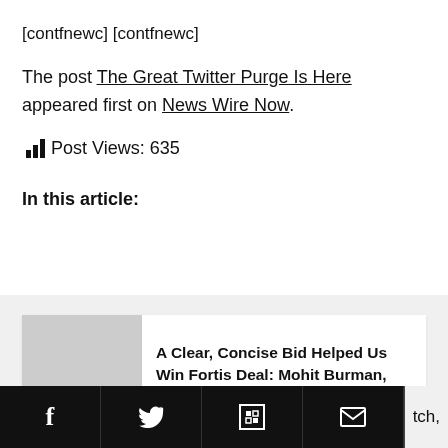[contfnewc] [contfnewc]
The post The Great Twitter Purge Is Here appeared first on News Wire Now.
Post Views: 635
In this article:
A Clear, Concise Bid Helped Us Win Fortis Deal: Mohit Burman, Director, Dabur India
tch,